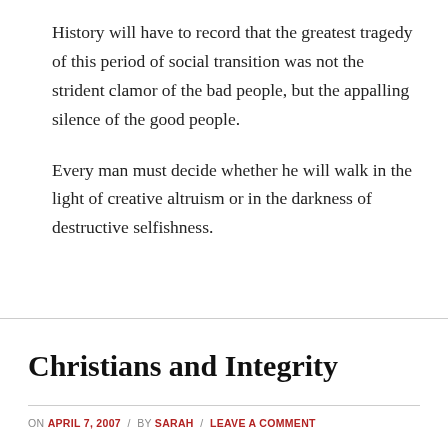History will have to record that the greatest tragedy of this period of social transition was not the strident clamor of the bad people, but the appalling silence of the good people.
Every man must decide whether he will walk in the light of creative altruism or in the darkness of destructive selfishness.
Christians and Integrity
ON APRIL 7, 2007 / BY SARAH / LEAVE A COMMENT